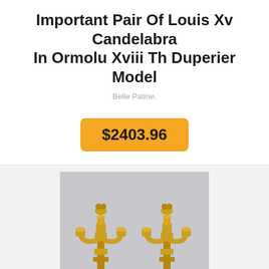Important Pair Of Louis Xv Candelabra In Ormolu Xviii Th Duperier Model
Belle Patine.
$2403.96
[Figure (photo): A pair of gold ormolu Louis XV style wall candelabra (sconces) with three arms each, ornate decorative elements at the top, displayed against a light grey background.]